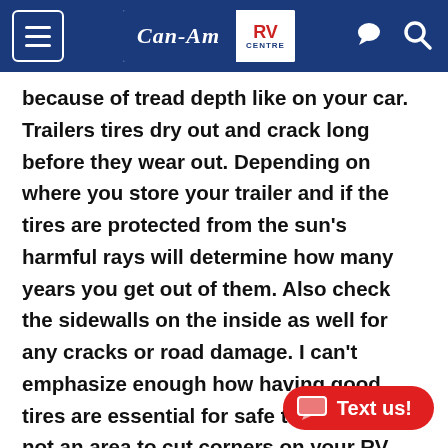Can-Am RV Centre
because of tread depth like on your car.  Trailers tires dry out and crack long before they wear out. Depending on where you store your trailer and if the tires are protected from the sun's harmful rays will determine how many years you get out of them. Also check the sidewalls on the inside as well for any cracks or road damage.  I can't emphasize enough how having good tires are essential for safe travel. This is not an area to cut corners on your RV budget.  If you are unsure call our parts and service department for advice.